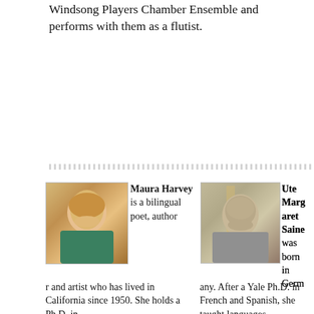Windsong Players Chamber Ensemble and performs with them as a flutist.
[Figure (photo): Portrait photo of Maura Harvey, a woman with blonde hair smiling]
Maura Harvey is a bilingual poet, author and artist who has lived in California since 1950. She holds a Ph.D. in
[Figure (photo): Portrait photo of Ute Margaret Saine, a woman with short gray hair]
Ute Margaret Saine was born in Germany. After a Yale Ph.D. in French and Spanish, she taught languages.